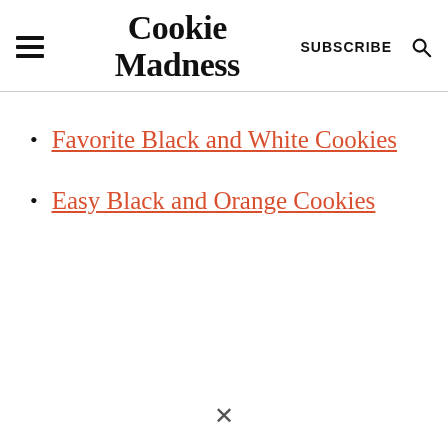Cookie Madness
Favorite Black and White Cookies
Easy Black and Orange Cookies